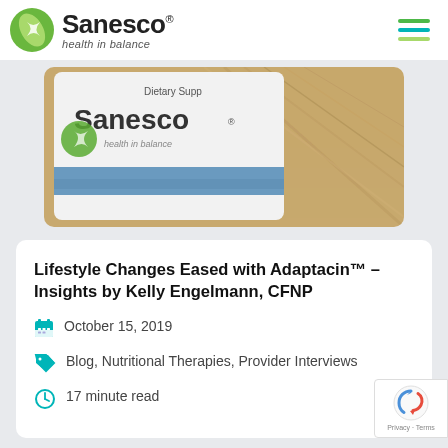[Figure (logo): Sanesco Health in Balance logo with green circle and stylized S leaf icon]
[Figure (photo): Close-up photo of a white Sanesco dietary supplement bottle with blue label stripe, beside wooden surface]
Lifestyle Changes Eased with Adaptacin™ – Insights by Kelly Engelmann, CFNP
October 15, 2019
Blog, Nutritional Therapies, Provider Interviews
17 minute read